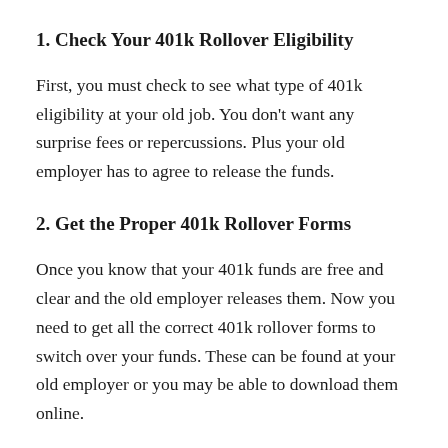1. Check Your 401k Rollover Eligibility
First, you must check to see what type of 401k eligibility at your old job. You don't want any surprise fees or repercussions. Plus your old employer has to agree to release the funds.
2. Get the Proper 401k Rollover Forms
Once you know that your 401k funds are free and clear and the old employer releases them. Now you need to get all the correct 401k rollover forms to switch over your funds. These can be found at your old employer or you may be able to download them online.